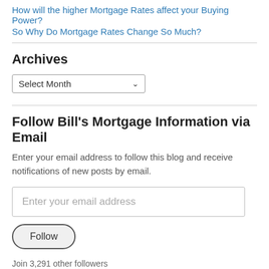How will the higher Mortgage Rates affect your Buying Power?
So Why Do Mortgage Rates Change So Much?
Archives
Select Month
Follow Bill's Mortgage Information via Email
Enter your email address to follow this blog and receive notifications of new posts by email.
Enter your email address
Follow
Join 3,291 other followers